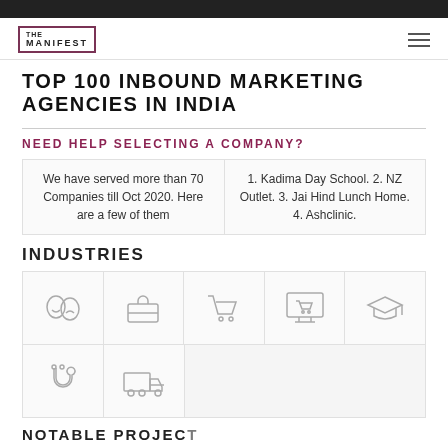THE MANIFEST
TOP 100 INBOUND MARKETING AGENCIES IN INDIA
NEED HELP SELECTING A COMPANY?
We have served more than 70 Companies till Oct 2020. Here are a few of them
1. Kadima Day School. 2. NZ Outlet. 3. Jai Hind Lunch Home. 4. Ashclinic.
INDUSTRIES
[Figure (illustration): Seven industry icons in a grid: theater masks, briefcase, shopping cart, computer monitor with cart, graduation cap, stethoscope, delivery truck]
NOTABLE PROJECT